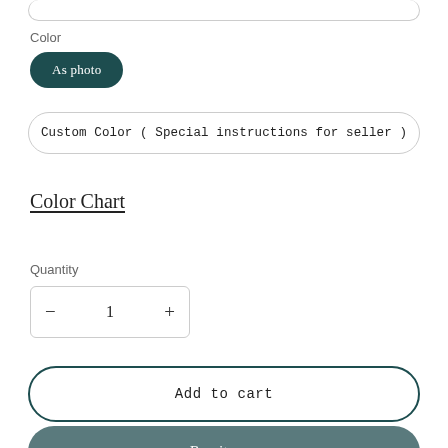Color
As photo
Custom Color ( Special instructions for seller )
Color Chart
Quantity
1
Add to cart
Buy it now